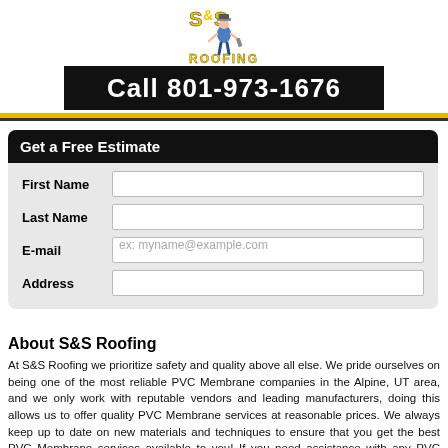[Figure (logo): S&S Roofing logo with cartoon roofer character]
Call 801-973-1676
Get a Free Estimate
First Name | Last Name | E-mail (ex: myname@example.com) | Address — form fields
About S&S Roofing
At S&S Roofing we prioritize safety and quality above all else. We pride ourselves on being one of the most reliable PVC Membrane companies in the Alpine, UT area, and we only work with reputable vendors and leading manufacturers, doing this allows us to offer quality PVC Membrane services at reasonable prices. We always keep up to date on new materials and techniques to ensure that you get the best PVC Membrane services available to you! If you need assistance with any PVC Membrane projects in the Alpine, UT area, please call S&S Roofing at 801-973-1676